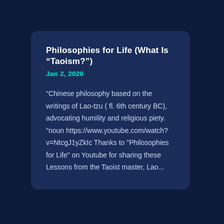Philosophies for Life (What Is “Taoism?”)
Jan 2, 2020
"Chinese philosophy based on the writings of Lao-tzu ( fl. 6th century BC), advocating humility and religious piety. "noun https://www.youtube.com/watch?v=NtcgJ1yZkIc Thanks to "Philosophies for Life" on Youtube for sharing these Lessons from the Taoist master, Lao...